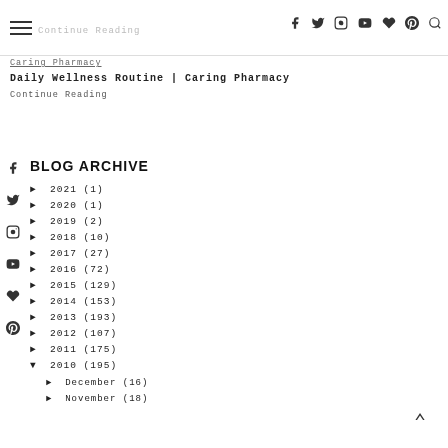Continue Reading | Caring Pharmacy
Caring Pharmacy
Daily Wellness Routine | Caring Pharmacy
Continue Reading
BLOG ARCHIVE
► 2021 (1)
► 2020 (1)
► 2019 (2)
► 2018 (10)
► 2017 (27)
► 2016 (72)
► 2015 (129)
► 2014 (153)
► 2013 (193)
► 2012 (107)
► 2011 (175)
▼ 2010 (195)
► December (16)
► November (18)